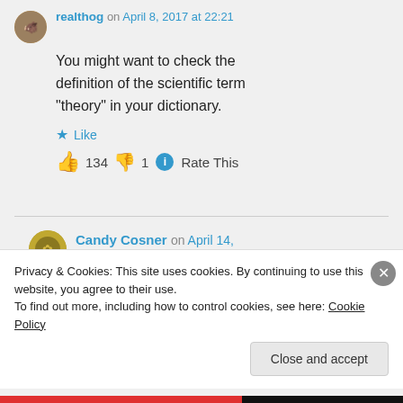realthog on April 8, 2017 at 22:21
You might want to check the definition of the scientific term “theory” in your dictionary.
★ Like
👍 134 👎 1 ⓘ Rate This
Candy Cosner on April 14, 2017 at 09:26
Privacy & Cookies: This site uses cookies. By continuing to use this website, you agree to their use.
To find out more, including how to control cookies, see here: Cookie Policy
Close and accept